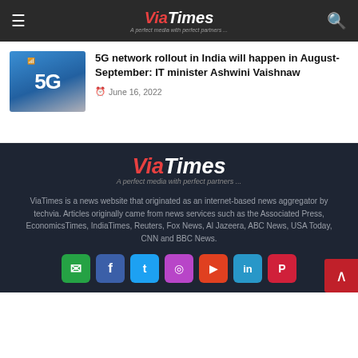Via Times — A perfect media with perfect partners ...
5G network rollout in India will happen in August-September: IT minister Ashwini Vaishnaw
June 16, 2022
[Figure (logo): ViaTimes footer logo with tagline: A perfect media with perfect partners ...]
ViaTimes is a news website that originated as an internet-based news aggregator by techvia. Articles originally came from news services such as the Associated Press, EconomicsTimes, IndiaTimes, Reuters, Fox News, Al Jazeera, ABC News, USA Today, CNN and BBC News.
[Figure (other): Social media icon buttons: WhatsApp, Facebook, Twitter, Instagram, YouTube, LinkedIn, Pinterest]